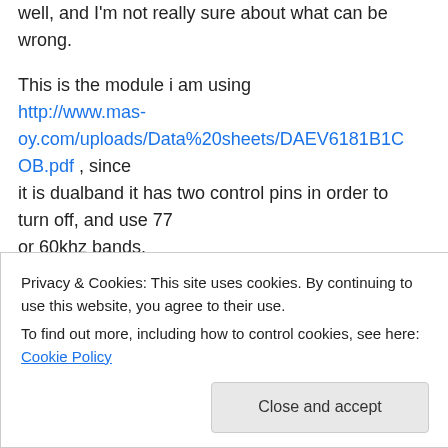well, and I'm not really sure about what can be wrong.
This is the module i am using http://www.mas-oy.com/uploads/Data%20sheets/DAEV6181B1COB.pdf , since it is dualband it has two control pins in order to turn off, and use 77 or 60khz bands.
I'm using an atmega328p, with the 3.3v and
Privacy & Cookies: This site uses cookies. By continuing to use this website, you agree to their use.
To find out more, including how to control cookies, see here: Cookie Policy
Close and accept